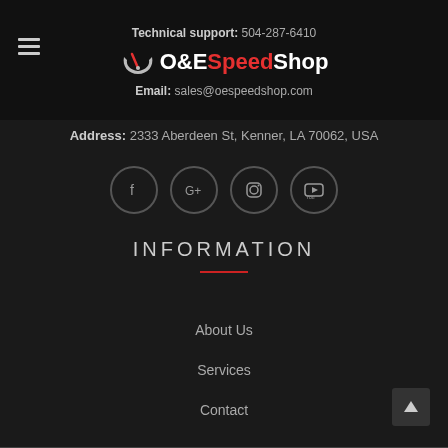Technical support: 504-287-6410 | O&E Speed Shop | Email: sales@oespeedshop.com
Address: 2333 Aberdeen St, Kenner, LA 70062, USA
[Figure (infographic): Row of four social media icons in circles: Facebook (f), Google+ (G+), Instagram (camera), YouTube]
INFORMATION
About Us
Services
Contact